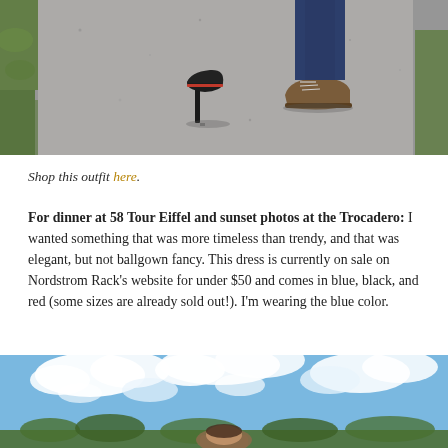[Figure (photo): Close-up photo of two people's feet/shoes walking on a paved path — one person wearing black high heels, the other wearing brown lace-up shoes with jeans]
Shop this outfit here.
For dinner at 58 Tour Eiffel and sunset photos at the Trocadero: I wanted something that was more timeless than trendy, and that was elegant, but not ballgown fancy. This dress is currently on sale on Nordstrom Rack's website for under $50 and comes in blue, black, and red (some sizes are already sold out!). I'm wearing the blue color.
[Figure (photo): Photo of a person standing outdoors against a blue sky with white clouds; green trees visible in background]